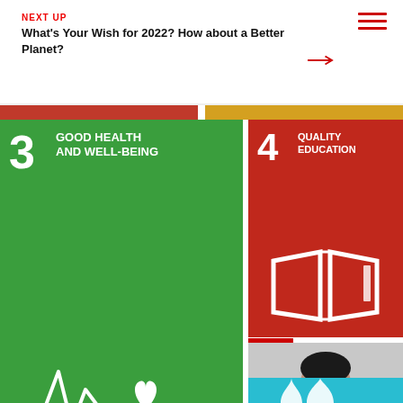NEXT UP
What's Your Wish for 2022? How about a Better Planet?
[Figure (infographic): SDG Goal 3 - Good Health and Well-Being tile (green background with ECG heartbeat and heart icon)]
[Figure (infographic): SDG Goal 4 - Quality Education tile (red background with open book icon)]
[Figure (photo): Person in professional attire with video play button overlay]
From The Top: Gender Equality
[Figure (infographic): SDG Goal 5 - Gender Equality tile (orange-red background with gender symbols)]